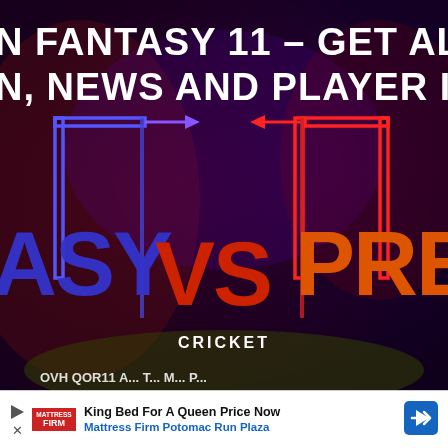[Figure (illustration): Fantasy cricket promotional graphic with dark stormy background. Top text reads 'N FANTASY 11 - GET ALL S' and 'N, NEWS AND PLAYER INF' in bold white font. Center shows large stylized text 'ASY VS PREDI' with blue and red coloring, with blue and red bracket/arrow graphic overlays. Bottom center shows 'CRICKET' in white text. Bottom edge shows partial text 'OVH QOR11 A...' in white.]
[Figure (infographic): Advertisement banner at bottom. Shows Mattress Firm logo (red box), text 'King Bed For A Queen Price Now' and 'Mattress Firm Potomac Run Plaza' in blue, with blue diamond navigation arrow icon on right. Play button triangle and X close button on left side.]